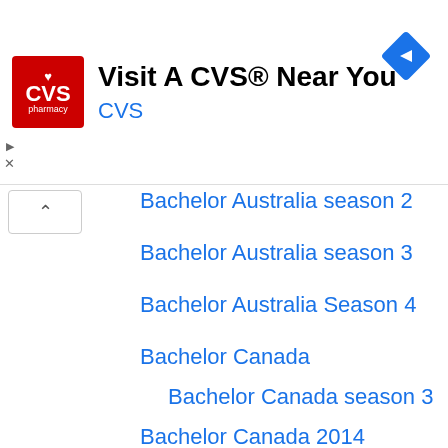[Figure (infographic): CVS Pharmacy advertisement banner with red CVS logo, text 'Visit A CVS® Near You', blue CVS subtitle, and a blue navigation/directions diamond icon on the right]
Bachelor Australia season 2
Bachelor Australia season 3
Bachelor Australia Season 4
Bachelor Canada
Bachelor Canada season 3
Bachelor Canada 2014
Bachelor Canada: Brad's Season
Bachelor Contestant Ethnicities
Bachelor contestant plastic surgery
Bachelor Contestant's religion
Bachelor contestants being paid for